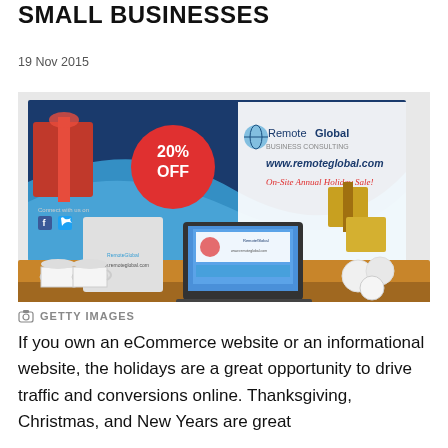SMALL BUSINESSES
19 Nov 2015
[Figure (photo): A trade show booth display for Remote Global Business Consulting featuring a banner with '20% OFF' on a red circle, the website www.remoteglobal.com, text reading 'On-Site Annual Holiday Sale!', gift boxes, a laptop showing their website, branded mugs, and other promotional items on a wooden table.]
GETTY IMAGES
If you own an eCommerce website or an informational website, the holidays are a great opportunity to drive traffic and conversions online. Thanksgiving, Christmas, and New Years are great